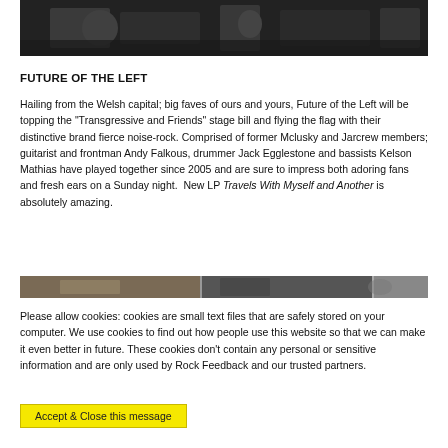[Figure (photo): Dark concert/band photo at top of page]
FUTURE OF THE LEFT
Hailing from the Welsh capital; big faves of ours and yours, Future of the Left will be topping the "Transgressive and Friends" stage bill and flying the flag with their distinctive brand fierce noise-rock. Comprised of former Mclusky and Jarcrew members; guitarist and frontman Andy Falkous, drummer Jack Egglestone and bassists Kelson Mathias have played together since 2005 and are sure to impress both adoring fans and fresh ears on a Sunday night.  New LP Travels With Myself and Another is absolutely amazing.
[Figure (photo): Band photo strip]
Please allow cookies: cookies are small text files that are safely stored on your computer. We use cookies to find out how people use this website so that we can make it even better in future. These cookies don't contain any personal or sensitive information and are only used by Rock Feedback and our trusted partners.
Accept & Close this message